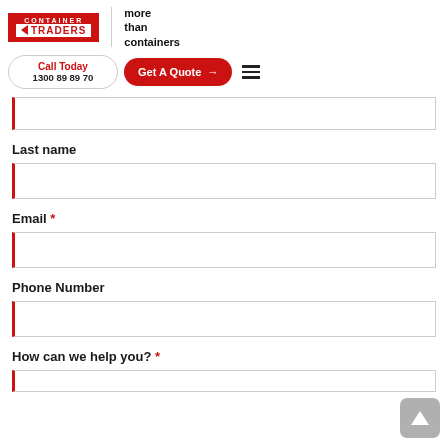[Figure (logo): Container Traders logo with red background, TRADERS text in white box, and tagline 'more than containers']
Call Today
1300 89 89 70
Get A Quote →
Last name
Email *
Phone Number
How can we help you? *